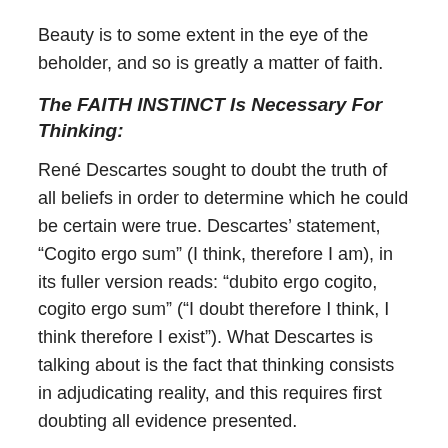Beauty is to some extent in the eye of the beholder, and so is greatly a matter of faith.
The FAITH INSTINCT Is Necessary For Thinking:
René Descartes sought to doubt the truth of all beliefs in order to determine which he could be certain were true. Descartes’ statement, “Cogito ergo sum” (I think, therefore I am), in its fuller version reads: “dubito ergo cogito, cogito ergo sum” (“I doubt therefore I think, I think therefore I exist”). What Descartes is talking about is the fact that thinking consists in adjudicating reality, and this requires first doubting all evidence presented.
My example, as usual, is trail running: on a roaring basis, a torrent of information is presented to the visual system, with the question of branch vs root vs shadow vs ground depression vs ground prominence vs snake vs where to